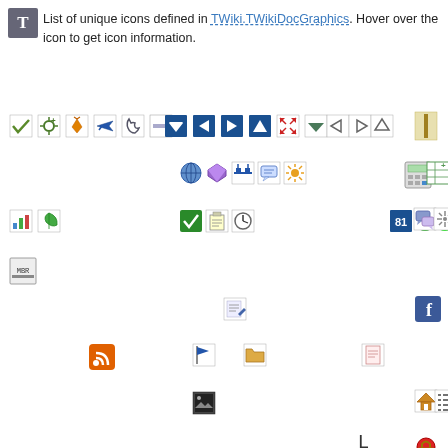List of unique icons defined in TWiki.TWikiDocGraphics. Hover over the icon to get icon information.
[Figure (illustration): Grid of various TWiki icons scattered across the page, including arrows, charts, folder, home, lock, RSS, Facebook, search, and other UI icons]